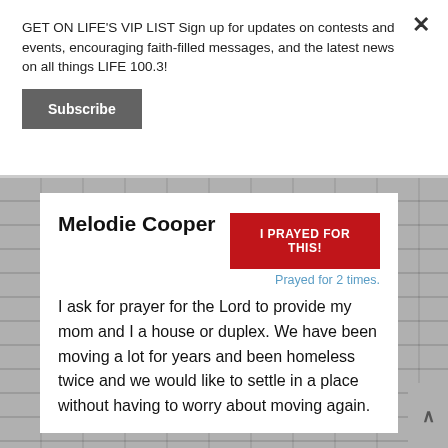GET ON LIFE'S VIP LIST Sign up for updates on contests and events, encouraging faith-filled messages, and the latest news on all things LIFE 100.3!
Subscribe
Melodie Cooper
I PRAYED FOR THIS!
Prayed for 2 times.
I ask for prayer for the Lord to provide my mom and I a house or duplex. We have been moving a lot for years and been homeless twice and we would like to settle in a place without having to worry about moving again.